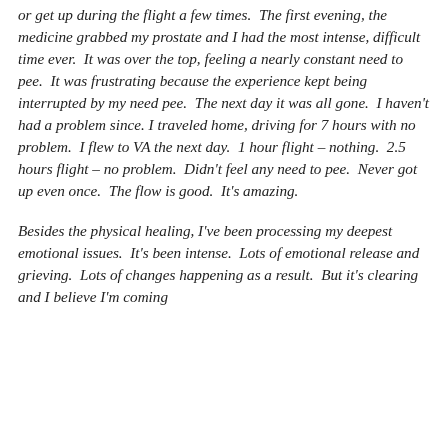or get up during the flight a few times.  The first evening, the medicine grabbed my prostate and I had the most intense, difficult time ever.  It was over the top, feeling a nearly constant need to pee.  It was frustrating because the experience kept being interrupted by my need pee.  The next day it was all gone.  I haven't had a problem since. I traveled home, driving for 7 hours with no problem.  I flew to VA the next day.  1 hour flight – nothing.  2.5 hours flight – no problem.  Didn't feel any need to pee.  Never got up even once.  The flow is good.  It's amazing.
Besides the physical healing, I've been processing my deepest emotional issues.  It's been intense.  Lots of emotional release and grieving.  Lots of changes happening as a result.  But it's clearing and I believe I'm coming